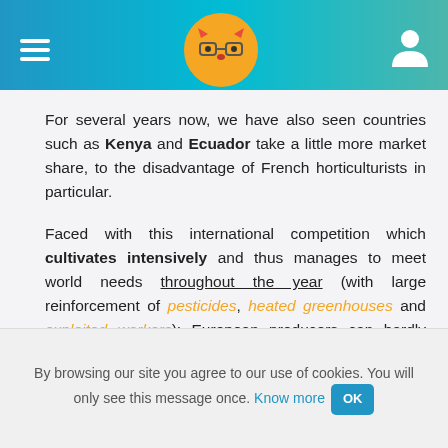Navigation header with hamburger menu, fox logo, and user icon
For several years now, we have also seen countries such as Kenya and Ecuador take a little more market share, to the disadvantage of French horticulturists in particular.
Faced with this international competition which cultivates intensively and thus manages to meet world needs throughout the year (with large reinforcement of pesticides, heated greenhouses and exploited workers): European producers can hardly compete...
By browsing our site you agree to our use of cookies. You will only see this message once. Know more OK